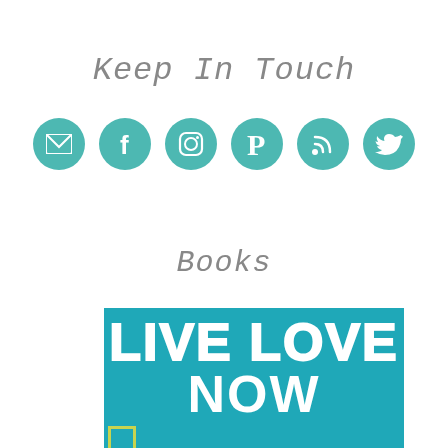Keep In Touch
[Figure (infographic): Six teal circular social media icons in a row: email/envelope, Facebook, Instagram, Pinterest, RSS feed, Twitter]
Books
[Figure (photo): Book cover for 'Live Love Now' with teal background and large white bold text. Bottom left corner has a small yellow-green square accent.]